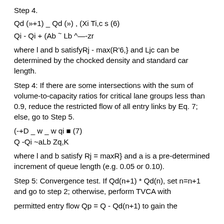Step 4.
where l and b satisfyRj - max(R'6,} and Ljc can be determined by the chocked density and standard car length.
Step 4: If there are some intersections with the sum of volume-to-capacity ratios for critical lane groups less than 0.9, reduce the restricted flow of all entry links by Eq. 7; else, go to Step 5.
where l and b satisfy Rj = maxR} and a is a pre-determined increment of queue length (e.g. 0.05 or 0.10).
Step 5: Convergence test. If Qd(n+1) * Qd(n), set n=n+1 and go to step 2; otherwise, perform TVCA with
permitted entry flow Qp = Q - Qd(n+1) to gain the